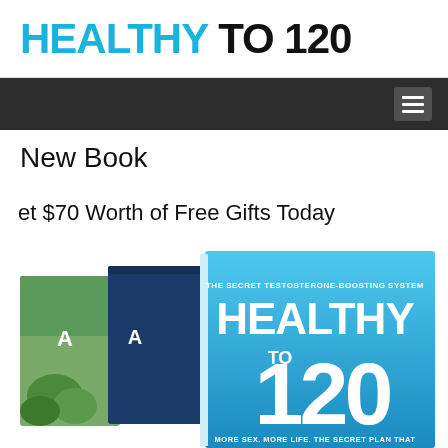HEALTHY TO 120
New Book
et $70 Worth of Free Gifts Today
[Figure (photo): Stack of books including Healthy to 120 book with blue cover showing 'THE SECRET TESTOSTERONE-BOOSTING SYSTEM' text and large '120' number, along with other books behind it]